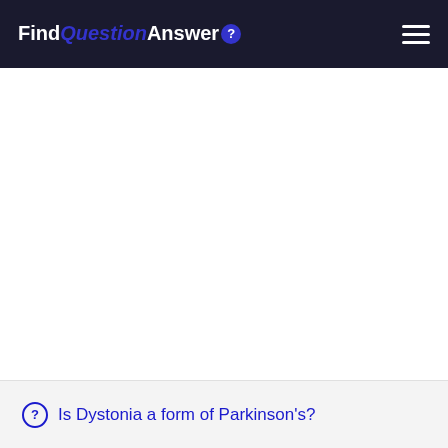FindQuestionAnswer
Is Dystonia a form of Parkinson's?